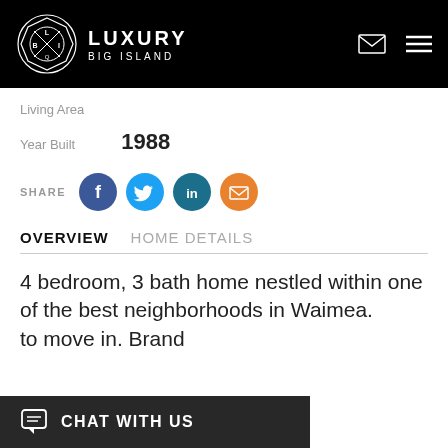LUXURY BIG ISLAND
Living Area
Year Built   1988
SHARE
OVERVIEW   HOME DETAILS
4 bedroom, 3 bath home nestled within one of the best neighborhoods in Waimea. [ready] to move in. Brand